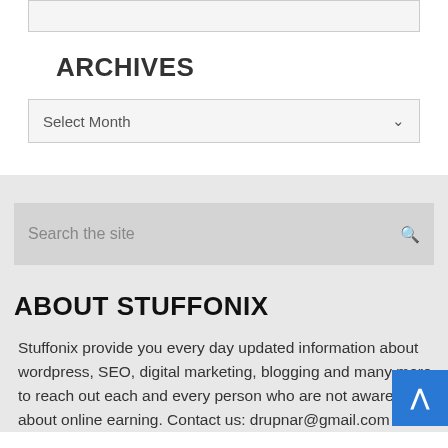ARCHIVES
Select Month
Search the site
ABOUT STUFFONIX
Stuffonix provide you every day updated information about wordpress, SEO, digital marketing, blogging and many more to reach out each and every person who are not aware about online earning. Contact us: drupnar@gmail.com